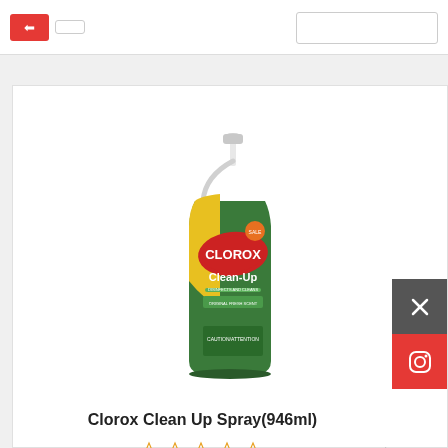[Figure (screenshot): Top navigation bar with red button and search box]
[Figure (photo): Clorox Clean-Up spray bottle with green label and yellow accent, trigger spray top]
Clorox Clean Up Spray(946ml)
☆☆☆☆☆
$5.79